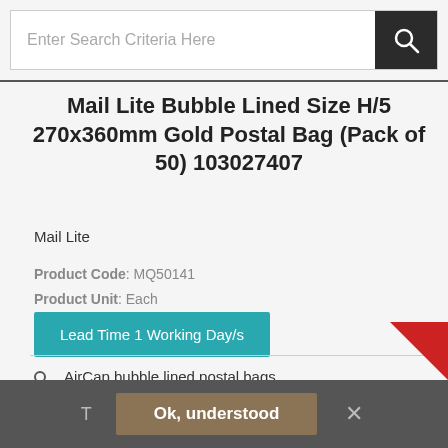Enter Search Criteria Here
Mail Lite Bubble Lined Size H/5 270x360mm Gold Postal Bag (Pack of 50) 103027407
Mail Lite
Product Code: MQ50141
Product Unit: Each
Lead Time 1 Working Day/s
AirCap bubble lined postal bags
Lightweight 70gsm paper outer
Strong self seal closure
Size H/5: 270 x 360mm
Ok, understood